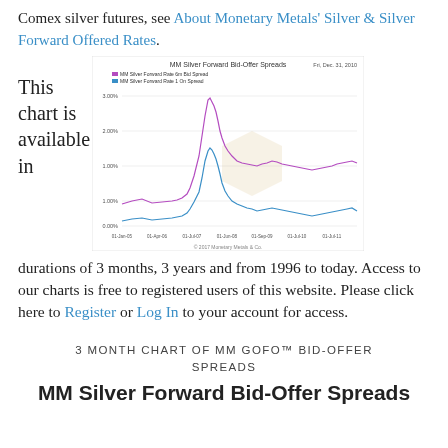Comex silver futures, see About Monetary Metals' Silver & Silver Forward Offered Rates.
This chart is available in
[Figure (continuous-plot): MM Silver Forward Bid-Offer Spreads line chart showing two lines (purple: MM Silver Forward Rate 6m Bid Spread, blue: MM Silver Forward Rate 1 On Spread) over time with a large spike around mid-chart period, watermarked with Monetary Metals logo.]
durations of 3 months, 3 years and from 1996 to today. Access to our charts is free to registered users of this website. Please click here to Register or Log In to your account for access.
3 MONTH CHART OF MM GOFO™ BID-OFFER SPREADS
MM Silver Forward Bid-Offer Spreads